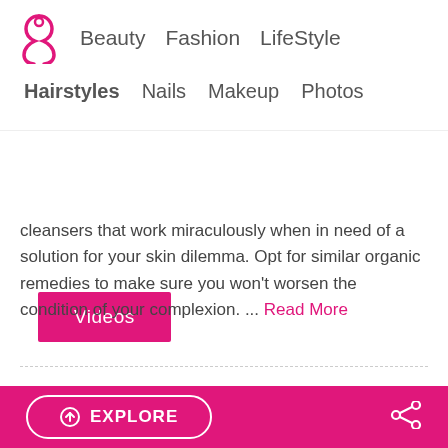Beauty  Fashion  LifeStyle
Hairstyles  Nails  Makeup  Photos
Videos
cleansers that work miraculously when in need of a solution for your skin dilemma. Opt for similar organic remedies to make sure you won't worsen the condition of your complexion. ... Read More
EXPLORE